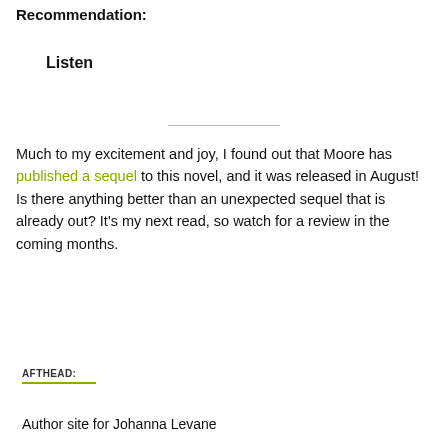Recommendation:
Listen
Much to my excitement and joy, I found out that Moore has published a sequel to this novel, and it was released in August!  Is there anything better than an unexpected sequel that is already out?  It's my next read, so watch for a review in the coming months.
AFTHEAD:
Author site for Johanna Levane